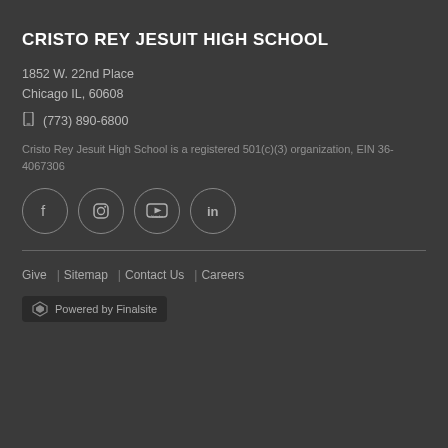CRISTO REY JESUIT HIGH SCHOOL
1852 W. 22nd Place
Chicago IL, 60608
(773) 890-6800
Cristo Rey Jesuit High School is a registered 501(c)(3) organization, EIN 36-4067306
[Figure (other): Social media icons: Facebook, Instagram, YouTube, LinkedIn — each in a circle outline]
Give  Sitemap  Contact Us  Careers
[Figure (logo): Powered by Finalsite badge with Finalsite logo icon]